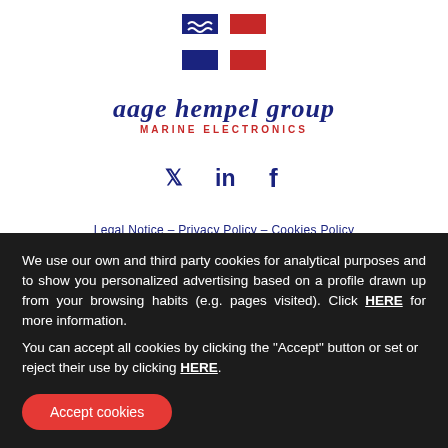[Figure (logo): Aage Hempel Group Marine Electronics logo — red and blue H-shaped emblem with wave lines, company name in italic bold dark blue 'aage hempel group', subtitle 'MARINE ELECTRONICS' in red caps]
[Figure (infographic): Social media icons: Twitter bird, LinkedIn 'in', Facebook 'f' in dark navy blue]
Legal Notice - Privacy Policy - Cookies Policy
Headquarters
We use our own and third party cookies for analytical purposes and to show you personalized advertising based on a profile drawn up from your browsing habits (e.g. pages visited). Click HERE for more information.
You can accept all cookies by clicking the "Accept" button or set or reject their use by clicking HERE.
Accept cookies